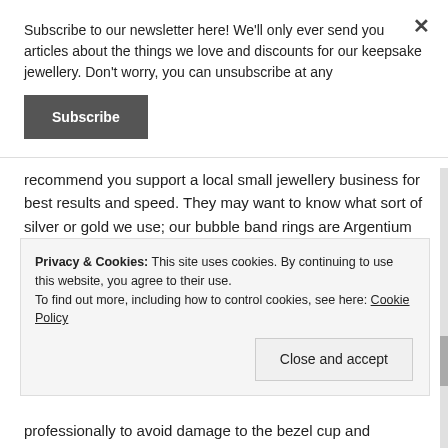Subscribe to our newsletter here! We'll only ever send you articles about the things we love and discounts for our keepsake jewellery. Don't worry, you can unsubscribe at any
Subscribe
recommend you support a local small jewellery business for best results and speed. They may want to know what sort of silver or gold we use; our bubble band rings are Argentium silver (slightly purer than 925 sterling, they are between 935 and 960), our other ring bands are recycled sterling known as EcoSilver and all are brazed with hard and medium sterling solder paste (occasionally easy solder
Privacy & Cookies: This site uses cookies. By continuing to use this website, you agree to their use.
To find out more, including how to control cookies, see here: Cookie Policy
Close and accept
professionally to avoid damage to the bezel cup and